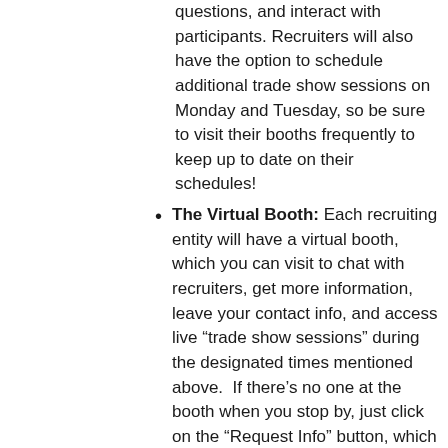questions, and interact with participants. Recruiters will also have the option to schedule additional trade show sessions on Monday and Tuesday, so be sure to visit their booths frequently to keep up to date on their schedules!
The Virtual Booth: Each recruiting entity will have a virtual booth, which you can visit to chat with recruiters, get more information, leave your contact info, and access live “trade show sessions” during the designated times mentioned above.  If there’s no one at the booth when you stop by, just click on the “Request Info” button, which will notify a recruiter that you’re interested in speaking to them. They’ll probably try to schedule a 1:1 in the platform, so keep an eye out for any messages in your Pathable inbox!